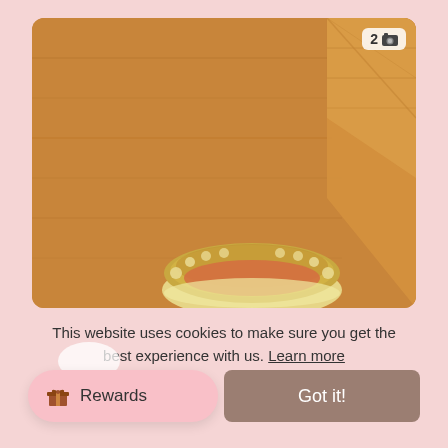[Figure (photo): Photo of a wooden floor with a shoe visible at the bottom center. Top-right corner shows a badge with '2' and a camera icon.]
This website uses cookies to make sure you get the best experience with us. Learn more
Rewards
Got it!